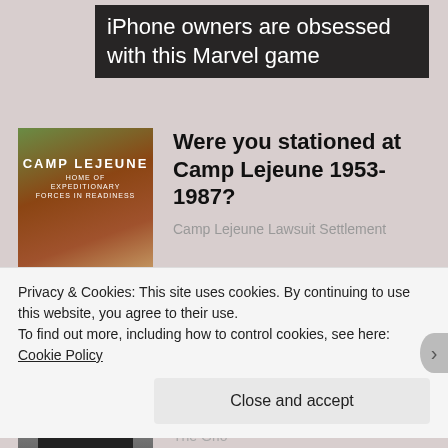[Figure (screenshot): Advertisement banner with dark background and text 'iPhone owners are obsessed with this Marvel game']
[Figure (photo): Camp Lejeune entrance sign on a brick wall reading 'CAMP LEJEUNE HOME OF EXPEDITIONARY FORCES IN READINESS']
Were you stationed at Camp Lejeune 1953-1987?
Camp Lejeune Lawsuit Settlement
[Figure (photo): Portrait photo of an older bald man in dark clothing]
Georgia city official resigns after Confederate shop reopens
The Grio
Privacy & Cookies: This site uses cookies. By continuing to use this website, you agree to their use.
To find out more, including how to control cookies, see here: Cookie Policy
Close and accept